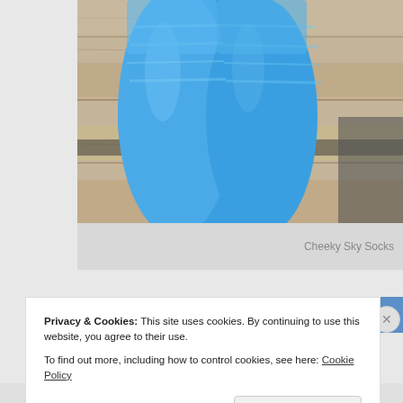[Figure (photo): Blue knitted socks resting on a wooden bench/slat surface. The socks are bright blue with subtle stripe texture.]
Cheeky Sky Socks
Privacy & Cookies: This site uses cookies. By continuing to use this website, you agree to their use.
To find out more, including how to control cookies, see here: Cookie Policy
Close and accept